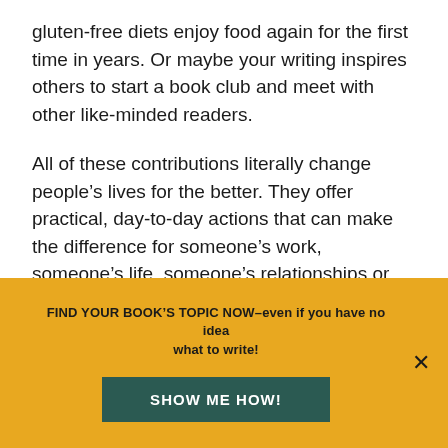gluten-free diets enjoy food again for the first time in years. Or maybe your writing inspires others to start a book club and meet with other like-minded readers.
All of these contributions literally change people’s lives for the better. They offer practical, day-to-day actions that can make the difference for someone’s work, someone’s life, someone’s relationships or someone’s health.
And what would be your experience at the that?
FIND YOUR BOOK’S TOPIC NOW–even if you have no idea what to write!
SHOW ME HOW!